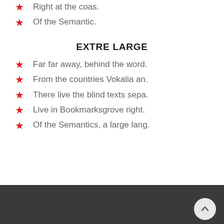Right at the coas.
Of the Semantic.
EXTRE LARGE
Far far away, behind the word.
From the countries Vokalia an.
There live the blind texts sepa.
Live in Bookmarksgrove right.
Of the Semantics, a large lang.
[Figure (other): Dark background section at the bottom of the page with a circular back-to-top arrow button in the bottom right corner]